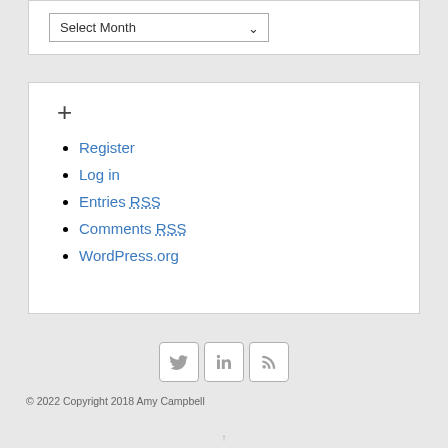[Figure (screenshot): A dropdown select element labeled 'Select Month' with a down-arrow chevron, inside a white card panel.]
Register
Log in
Entries RSS
Comments RSS
WordPress.org
[Figure (other): Social media icons: Twitter bird, LinkedIn 'in', and RSS feed symbol, displayed as rounded square icon buttons.]
© 2022 Copyright 2018 Amy Campbell